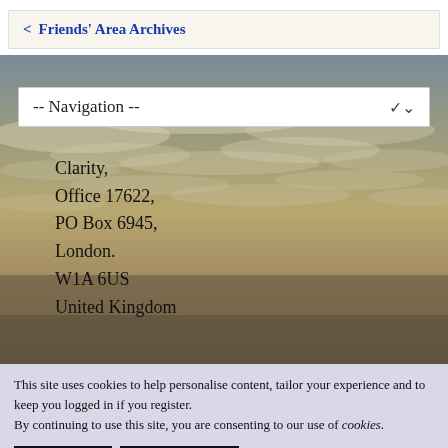< Friends' Area Archives
[Figure (screenshot): Navigation dropdown over sky/clouds background image with '-- Navigation --' dropdown selector]
Clarity,
Office 17622,
PO Box 6945,
London.
W1A 6US
United Kingdom
This site uses cookies to help personalise content, tailor your experience and to keep you logged in if you register.
By continuing to use this site, you are consenting to our use of cookies.
✓ Accept   Learn more…